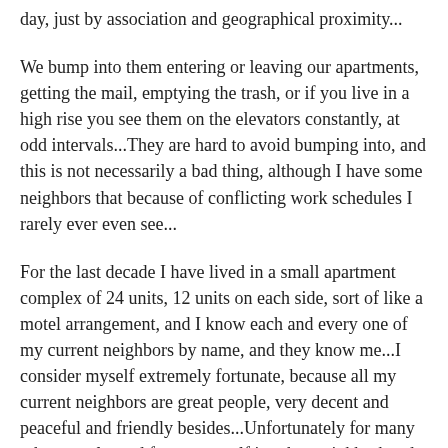day, just by association and geographical proximity...
We bump into them entering or leaving our apartments, getting the mail, emptying the trash, or if you live in a high rise you see them on the elevators constantly, at odd intervals...They are hard to avoid bumping into, and this is not necessarily a bad thing, although I have some neighbors that because of conflicting work schedules I rarely ever even see...
For the last decade I have lived in a small apartment complex of 24 units, 12 units on each side, sort of like a motel arrangement, and I know each and every one of my current neighbors by name, and they know me...I consider myself extremely fortunate, because all my current neighbors are great people, very decent and peaceful and friendly besides...Unfortunately for many other people, and for me myself in other neighborhoods and apartments I have lived in, that is